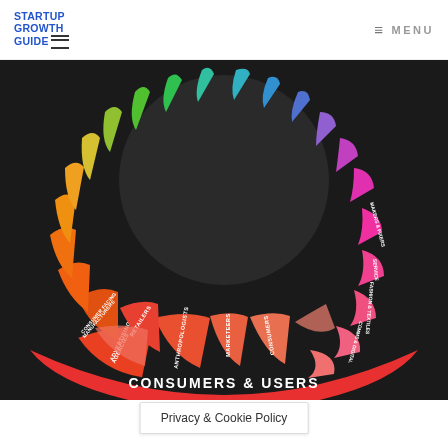STARTUP GROWTH GUIDE | MENU
[Figure (photo): A colorful circular wheel diagram labeled 'CONSUMERS & USERS' at the bottom, with colored segments showing various stakeholder categories like Advertising Agencies, Anthropologists, Marketeers, Consumers, Retailers, Consumer Facing Manufacturers, etc. The wheel is photographed on a dark background.]
Privacy & Cookie Policy